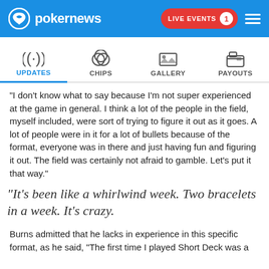pokernews | LIVE EVENTS 1
[Figure (screenshot): Navigation tabs: UPDATES (active, with radio wave icon), CHIPS (with life preserver icon), GALLERY (with image icon), PAYOUTS (with wallet icon)]
"I don't know what to say because I'm not super experienced at the game in general. I think a lot of the people in the field, myself included, were sort of trying to figure it out as it goes. A lot of people were in it for a lot of bullets because of the format, everyone was in there and just having fun and figuring it out. The field was certainly not afraid to gamble. Let's put it that way."
"It's been like a whirlwind week. Two bracelets in a week. It's crazy.
Burns admitted that he lacks in experience in this specific format, as he said, "The first time I played Short Deck was a